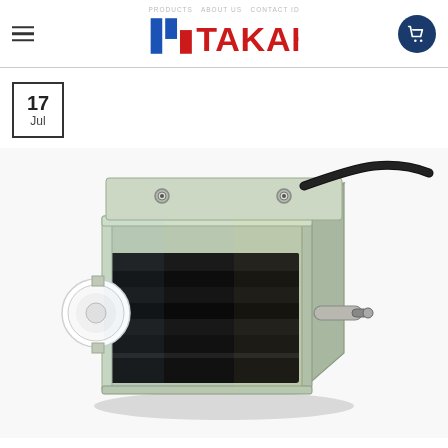TAKAHA - solenoid product page header with navigation
17 Jul
[Figure (photo): A Takaha push-type solenoid actuator with a metallic silver casing, black coil winding visible at the front, a white plastic plunger on the left side, a small cylindrical plunger rod on the right, two mounting screw holes on the top, and a black electrical wire cable exiting from the upper right.]